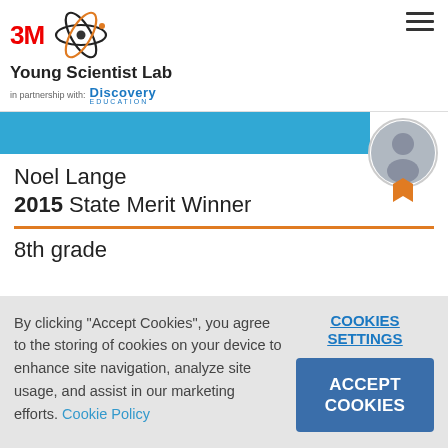3M Young Scientist Lab in partnership with Discovery Education
[Figure (screenshot): Profile card showing Noel Lange, 2015 State Merit Winner, 8th grade, with blue banner, avatar placeholder, and orange ribbon badge]
Noel Lange
2015 State Merit Winner
8th grade
By clicking "Accept Cookies", you agree to the storing of cookies on your device to enhance site navigation, analyze site usage, and assist in our marketing efforts. Cookie Policy
COOKIES SETTINGS
ACCEPT COOKIES